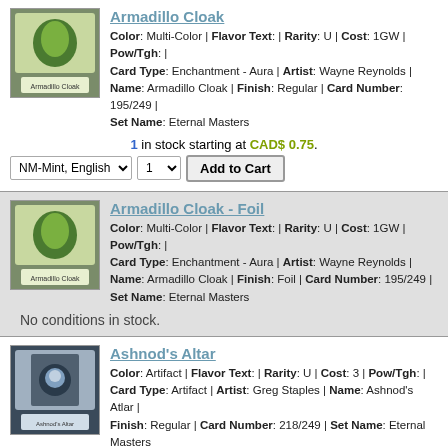Armadillo Cloak
Color: Multi-Color | Flavor Text: | Rarity: U | Cost: 1GW | Pow/Tgh: | Card Type: Enchantment - Aura | Artist: Wayne Reynolds | Name: Armadillo Cloak | Finish: Regular | Card Number: 195/249 | Set Name: Eternal Masters
1 in stock starting at CAD$ 0.75.
Armadillo Cloak - Foil
Color: Multi-Color | Flavor Text: | Rarity: U | Cost: 1GW | Pow/Tgh: | Card Type: Enchantment - Aura | Artist: Wayne Reynolds | Name: Armadillo Cloak | Finish: Foil | Card Number: 195/249 | Set Name: Eternal Masters
No conditions in stock.
Ashnod's Altar
Color: Artifact | Flavor Text: | Rarity: U | Cost: 3 | Pow/Tgh: | Card Type: Artifact | Artist: Greg Staples | Name: Ashnod's Atlar | Finish: Regular | Card Number: 218/249 | Set Name: Eternal Masters
No conditions in stock.
Ashnod's Altar - Foil
Color: Artifact | Flavor Text: | Rarity: U | Cost: 3 | Pow/Tgh: | Card Type: Artifact | Artist: Greg Staples | Name: Ashnod's Atlar | Finish: Foil | Card Number: 218/249 | Set Name: Eternal Masters
No conditions in stock.